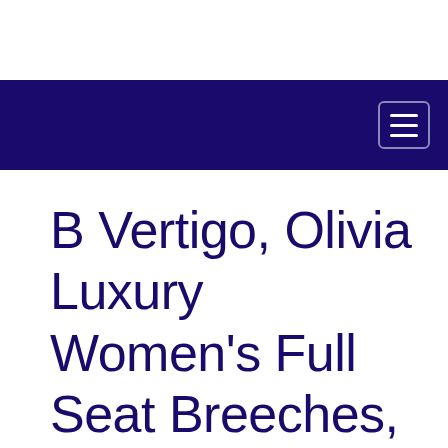B Vertigo, Olivia Luxury Women's Full Seat Breeches, Pink, 30